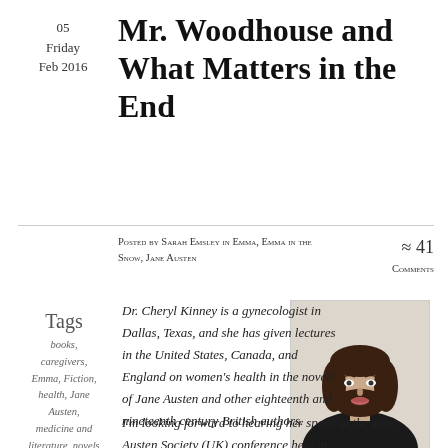05
Friday
Feb 2016
Mr. Woodhouse and What Matters in the End
Posted by Sarah Emsley in Emma, Emma in the Snow, Jane Austen
≈ 41 Comments
Tags
books,
caregivers,
Emma, Fiction,
health, Jane
Austen,
medicine and
literature, novels
[Figure (photo): Headshot of Dr. Cheryl Kinney, a woman with dark brown shoulder-length hair, smiling, wearing a dark blazer, against a light background.]
Dr. Cheryl Kinney is a gynecologist in Dallas, Texas, and she has given lectures in the United States, Canada, and England on women's health in the novels of Jane Austen and other eighteenth and nineteenth century British authors. I'm looking forward to hearing her speak at the Jane Austen Society (UK) conference here in